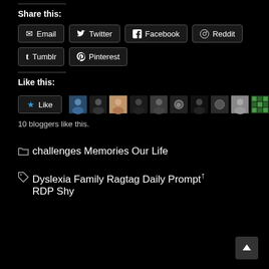Share this:
Email Twitter Facebook Reddit Tumblr Pinterest
Like this:
[Figure (other): Like button with star icon and 10 blogger avatars]
10 bloggers like this.
challenges Memories Our Life
Dyslexia Family Ragtag Daily Prompt RDP Shy